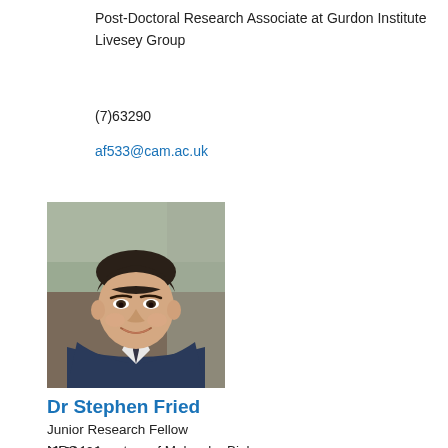Post-Doctoral Research Associate at Gurdon Institute
Livesey Group
(7)63290
af533@cam.ac.uk
[Figure (photo): Headshot portrait of Dr Stephen Fried, a man in a suit jacket smiling, outdoor background.]
Dr Stephen Fried
Junior Research Fellow
MRC Laboratory of Molecular Biology
(3)31100